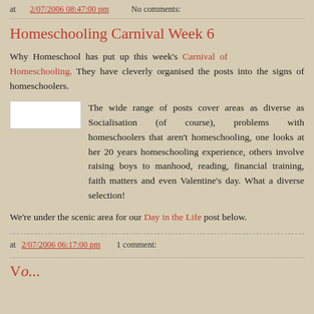at 2/07/2006 08:47:00 pm   No comments:
Homeschooling Carnival Week 6
Why Homeschool has put up this week's Carnival of Homeschooling. They have cleverly organised the posts into the signs of homeschoolers.
[Figure (photo): Small white rectangular image placeholder floated left]
The wide range of posts cover areas as diverse as Socialisation (of course), problems with homeschoolers that aren't homeschooling, one looks at her 20 years homeschooling experience, others involve raising boys to manhood, reading, financial training, faith matters and even Valentine's day. What a diverse selection!
We're under the scenic area for our Day in the Life post below.
at 2/07/2006 06:17:00 pm   1 comment:
V...